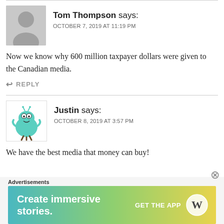Tom Thompson says: OCTOBER 7, 2019 AT 11:19 PM
Now we know why 600 million taxpayer dollars were given to the Canadian media.
REPLY
Justin says: OCTOBER 8, 2019 AT 3:57 PM
We have the best media that money can buy!
Advertisements
[Figure (illustration): Advertisement banner: Create immersive stories. GET THE APP with WordPress logo. Gradient background from teal to green to yellow.]